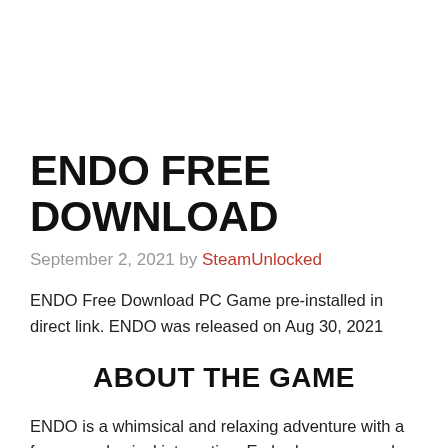ENDO FREE DOWNLOAD
September 2, 2021 by SteamUnlocked
ENDO Free Download PC Game pre-installed in direct link. ENDO was released on Aug 30, 2021
ABOUT THE GAME
ENDO is a whimsical and relaxing adventure with a focus on physical interaction. Embark on a surreal